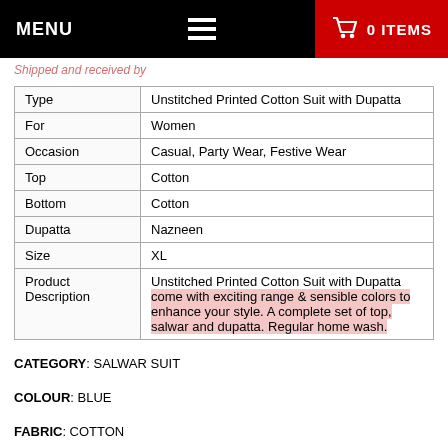MENU  ≡  🛒 0 ITEMS
Shipped and received by
| Type | Unstitched Printed Cotton Suit with Dupatta |
| --- | --- |
| For | Women |
| Occasion | Casual, Party Wear, Festive Wear |
| Top | Cotton |
| Bottom | Cotton |
| Dupatta | Nazneen |
| Size | XL |
| Product Description | Unstitched Printed Cotton Suit with Dupatta come with exciting range & sensible colors to enhance your style. A complete set of top, salwar and dupatta. Regular home wash. |
CATEGORY: SALWAR SUIT
COLOUR: BLUE
FABRIC: COTTON

LAUNDRY/CLEANING: HANDWASH
DELIVERY: Shipped in 3-7 business day.
Our Vendors are located at difference locations in India. Some time takes